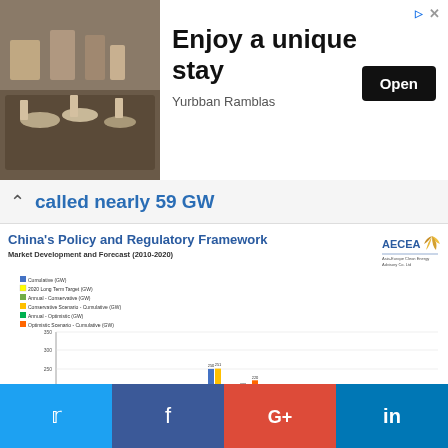[Figure (photo): Ad banner: hotel restaurant buffet photo with 'Enjoy a unique stay' headline, Yurbban Ramblas, Open button]
called nearly 59 GW
[Figure (grouped-bar-chart): China's Policy and Regulatory Framework - Market Development and Forecast (2010-2020)]
Confidential Proprietary. Do not distribute. see © copyright and disclaimer
It was revealed that China also installed 19.5 GW of wind power in
[Figure (other): Social sharing bar with Twitter, Facebook, Google+, LinkedIn buttons]